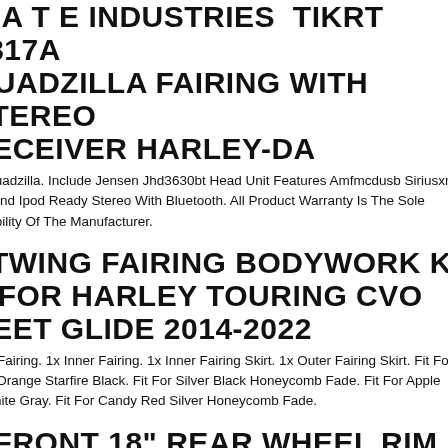BATWING FAIRING WITH STEREO RECEIVER HARLEY-DA
el Quadzilla. Include Jensen Jhd3630bt Head Unit Features Amfmcdusb Siriusxm ble And Ipod Ready Stereo With Bluetooth. All Product Warranty Is The Sole onsibility Of The Manufacturer.
BATWING FAIRING BODYWORK KIT FOR HARLEY TOURING CVO STREET GLIDE 2014-2022
nter Fairing. 1x Inner Fairing. 1x Inner Fairing Skirt. 1x Outer Fairing Skirt. Fit For urst Orange Starfire Black. Fit For Silver Black Honeycomb Fade. Fit For Apple n White Gray. Fit For Candy Red Silver Honeycomb Fade.
" FRONT 18" REAR WHEEL RIM UB &BELT PULLEY FIT FOR HARLEY STREET GLIDE 08-22
Wheel Rim. Rear Wheel Rim. 1x Rear Wheel Belt Pulley Sprocket. Front Wheel Fits For Harley Touring Models 2008-2022 ( Fits Non Abs Models Only). Rear el Hub. 1x Front Wheel Rim. 1x Rear Wheel Rim.
NA MAMMOTH FAT 52 ALL BLACK